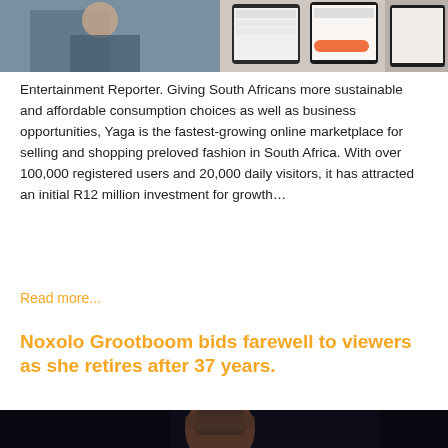[Figure (photo): Top portion of an article image showing app screenshots and a person, cropped at top of page]
Entertainment Reporter. Giving South Africans more sustainable and affordable consumption choices as well as business opportunities, Yaga is the fastest-growing online marketplace for selling and shopping preloved fashion in South Africa. With over 100,000 registered users and 20,000 daily visitors, it has attracted an initial R12 million investment for growth…
Read more...
Noxolo Grootboom bids farewell to viewers as she retires after 37 years.
[Figure (photo): Bottom portion showing a person in traditional attire against a dark background, partially visible]